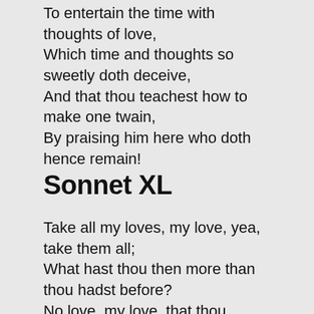To entertain the time with thoughts of love,
Which time and thoughts so sweetly doth deceive,
And that thou teachest how to make one twain,
By praising him here who doth hence remain!
Sonnet XL
Take all my loves, my love, yea, take them all;
What hast thou then more than thou hadst before?
No love, my love, that thou mayst true love call;